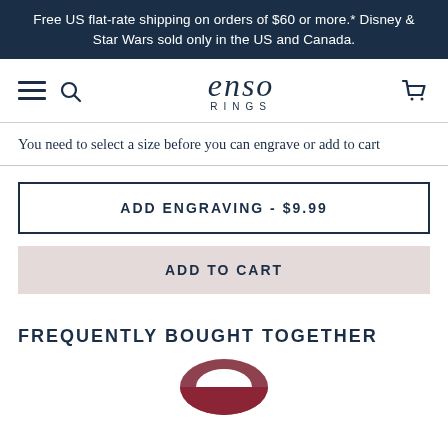Free US flat-rate shipping on orders of $60 or more.* Disney & Star Wars sold only in the US and Canada.
[Figure (logo): Enso Rings logo with hamburger menu, search icon, brand name 'enso RINGS', and cart icon in navigation bar]
You need to select a size before you can engrave or add to cart
ADD ENGRAVING - $9.99
ADD TO CART
FREQUENTLY BOUGHT TOGETHER
[Figure (photo): Partial view of a dark red/maroon Enso silicone ring]